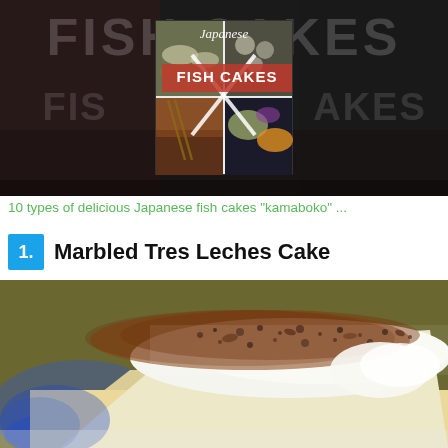[Figure (photo): Dark-toned collage showing Japanese fish cakes (kamaboko) with text overlay 'Japanese FISH CAKES' and an X cross dividing four food photos in the center]
10 types of delicious Japanese fish cakes "kamaboko" ...
1. Marbled Tres Leches Cake
[Figure (photo): Close-up photo of a slice of Marbled Tres Leches Cake on a decorative blue and white plate, topped with whipped cream and brown crumble/chocolate dust]